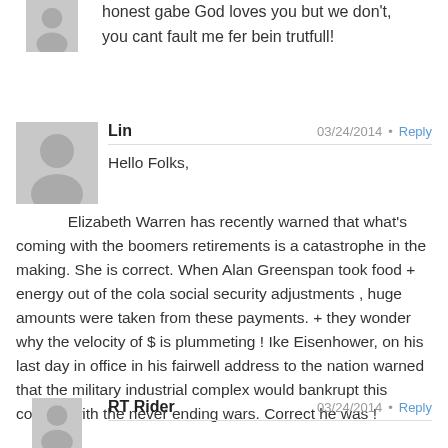honest gabe God loves you but we don't, you cant fault me fer bein trutfull!
Lin  03/24/2014 • Reply
Hello Folks,
Elizabeth Warren has recently warned that what's coming with the boomers retirements is a catastrophe in the making. She is correct. When Alan Greenspan took food + energy out of the cola social security adjustments , huge amounts were taken from these payments. + they wonder why the velocity of $ is plummeting ! Ike Eisenhower, on his last day in office in his fairwell address to the nation warned that the military industrial complex would bankrupt this country with the never ending wars. Correct he was !
RT Rider  03/24/2014 • Reply